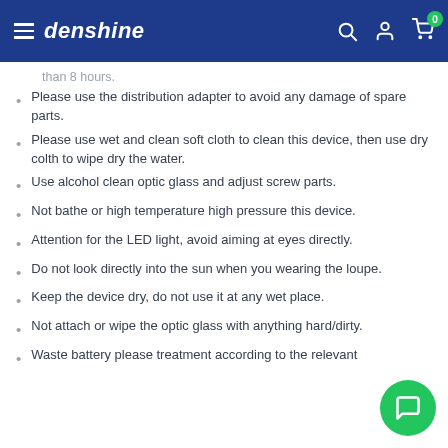denshine
than 8 hours.
Please use the distribution adapter to avoid any damage of spare parts.
Please use wet and clean soft cloth to clean this device, then use dry colth to wipe dry the water.
Use alcohol clean optic glass and adjust screw parts.
Not bathe or high temperature high pressure this device.
Attention for the LED light, avoid aiming at eyes directly.
Do not look directly into the sun when you wearing the loupe.
Keep the device dry, do not use it at any wet place.
Not attach or wipe the optic glass with anything hard/dirty.
Waste battery please treatment according to the relevant